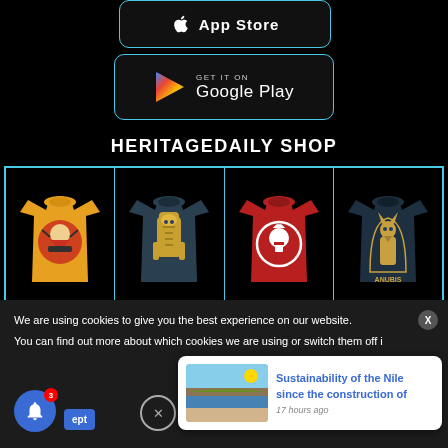[Figure (screenshot): Partial App Store download button with cyan border]
[Figure (screenshot): GET IT ON Google Play button with cyan border and Google Play triangle logo]
HERITAGEDAILY SHOP
[Figure (screenshot): Four t-shirts in a grid: yellow with samurai design, dark teal with pharaoh/tutankhamun, red with spartan helmet wreath, dark teal with Anubis design]
We are using cookies to give you the best experience on our website.
You can find out more about which cookies we are using or switch them off i
[Figure (screenshot): Notification popup showing aerial photo of the Nile with title 'Sustainability of the Nile since the construction of' and timestamp '17 hours ago']